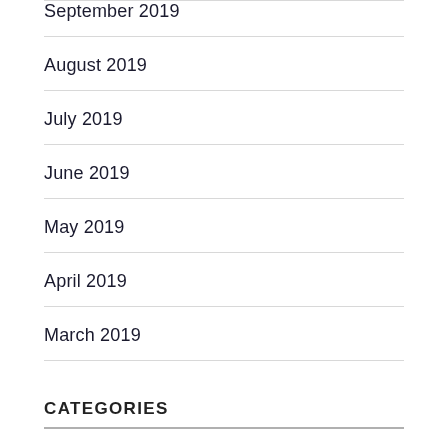September 2019
August 2019
July 2019
June 2019
May 2019
April 2019
March 2019
CATEGORIES
Automotive